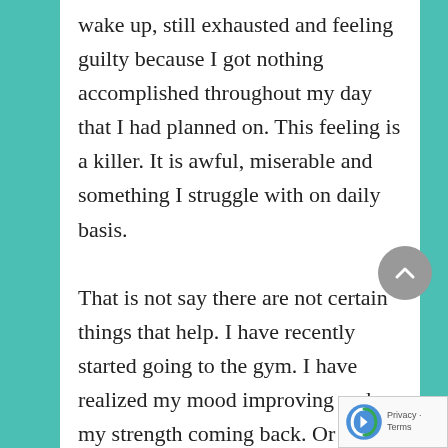wake up, still exhausted and feeling guilty because I got nothing accomplished throughout my day that I had planned on. This feeling is a killer. It is awful, miserable and something I struggle with on daily basis.

That is not say there are not certain things that help. I have recently started going to the gym. I have realized my mood improving and my strength coming back. Or I will reach out more to friends for support than I have in the past. But the struggle with exhaustion, it is so very real. This post alone I have been trying to write for over a week and have started it multiple times but it just never got finished. It was li...